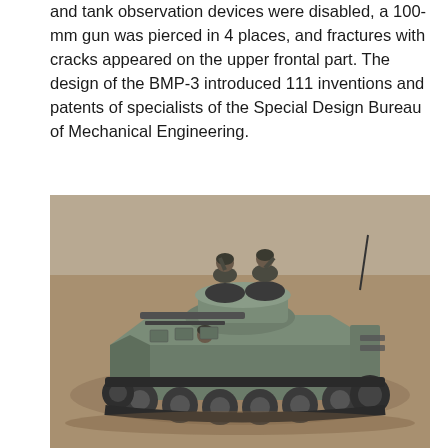and tank observation devices were disabled, a 100-mm gun was pierced in 4 places, and fractures with cracks appeared on the upper frontal part. The design of the BMP-3 introduced 111 inventions and patents of specialists of the Special Design Bureau of Mechanical Engineering.
[Figure (photo): A BMP-3 infantry fighting vehicle moving across open terrain. Two soldiers are visible standing in the open turret hatches, wearing military gear. The vehicle is grey-green colored with visible tracks, road wheels, and a gun barrel. The background shows flat, barren ground.]